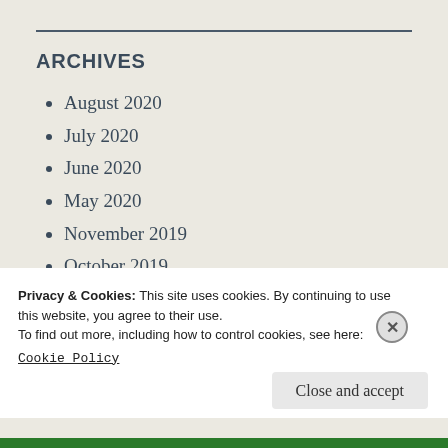ARCHIVES
August 2020
July 2020
June 2020
May 2020
November 2019
October 2019
July 2018
Privacy & Cookies: This site uses cookies. By continuing to use this website, you agree to their use.
To find out more, including how to control cookies, see here:
Cookie Policy
Close and accept